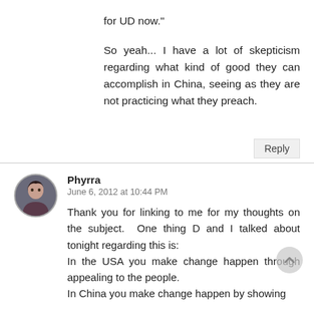for UD now."

So yeah... I have a lot of skepticism regarding what kind of good they can accomplish in China, seeing as they are not practicing what they preach.
Reply
Phyrra
June 6, 2012 at 10:44 PM
Thank you for linking to me for my thoughts on the subject. One thing D and I talked about tonight regarding this is:
In the USA you make change happen through appealing to the people.
In China you make change happen by showing